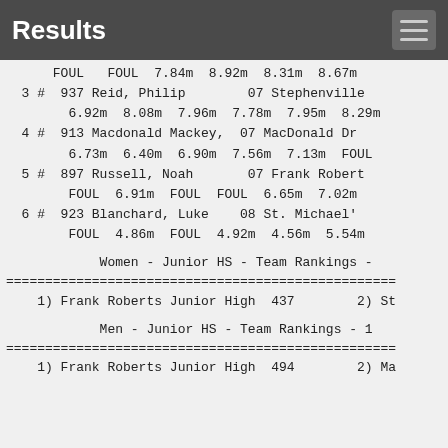Results
FOUL   FOUL  7.84m  8.92m  8.31m  8.67m
  3 #  937 Reid, Philip        07 Stephenville
        6.92m  8.08m  7.96m  7.78m  7.95m  8.29m
  4 #  913 Macdonald Mackey,  07 MacDonald Dr
        6.73m  6.40m  6.90m  7.56m  7.13m  FOUL
  5 #  897 Russell, Noah       07 Frank Robert
        FOUL  6.91m  FOUL  FOUL  6.65m  7.02m
  6 #  923 Blanchard, Luke    08 St. Michael'
        FOUL  4.86m  FOUL  4.92m  4.56m  5.54m
Women - Junior HS - Team Rankings -
1) Frank Roberts Junior High  437        2) St
Men - Junior HS - Team Rankings - 1
1) Frank Roberts Junior High  494        2) Ma